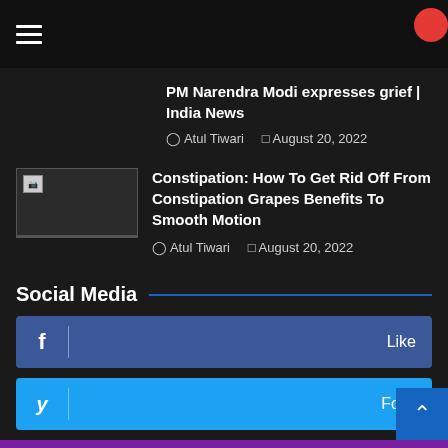Navigation menu header bar
PM Narendra Modi expresses grief | India News
Atul Tiwari  August 20, 2022
[Figure (photo): Thumbnail image placeholder (broken image icon)]
Constipation: How To Get Rid Off From Constipation Grapes Benefits To Smooth Motion
Atul Tiwari  August 20, 2022
Social Media
f  Like
y  Follow